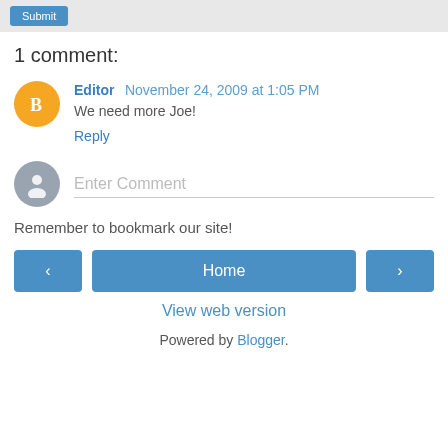1 comment:
Editor  November 24, 2009 at 1:05 PM
We need more Joe!
Reply
Enter Comment
Remember to bookmark our site!
< Home > View web version
Powered by Blogger.